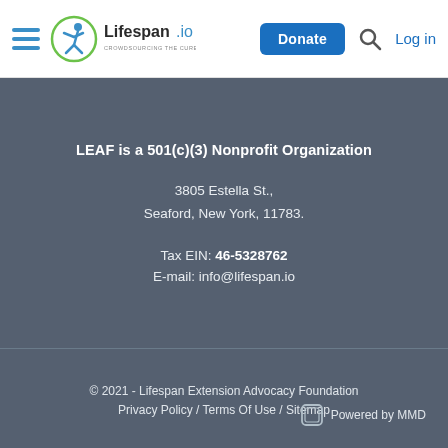Lifespan.io — Donate / Log in navigation header
LEAF is a 501(c)(3) Nonprofit Organization
3805 Estella St.,
Seaford, New York, 11783.
Tax EIN: 46-5328762
E-mail: info@lifespan.io
© 2021 - Lifespan Extension Advocacy Foundation
Privacy Policy / Terms Of Use / Sitemap
Powered by MMD